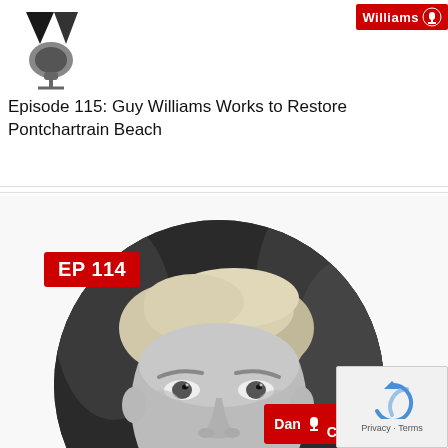[Figure (photo): Podcast episode thumbnail showing a microphone graphic with a red 'Williams' badge in the upper right, partially visible at top of page]
Episode 115: Guy Williams Works to Restore Pontchartrain Beach
[Figure (photo): Podcast episode 114 card showing a black-and-white circular portrait photo of a young man with light hair and beard, overlaid with a red 'EP 114' badge in upper left and a red 'Dan Clift' badge with microphone icon in lower right]